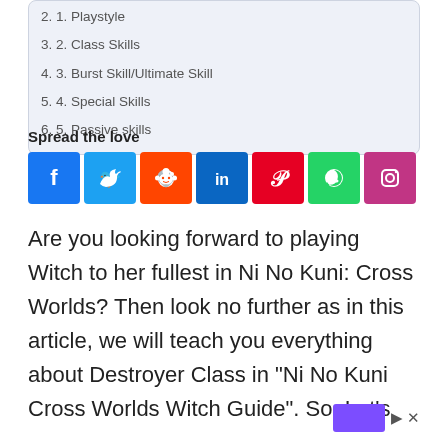2. 1. Playstyle
3. 2. Class Skills
4. 3. Burst Skill/Ultimate Skill
5. 4. Special Skills
6. 5. Passive skills
Spread the love
[Figure (infographic): Social share buttons: Facebook, Twitter, Reddit, LinkedIn, Pinterest, WhatsApp, Instagram]
Are you looking forward to playing Witch to her fullest in Ni No Kuni: Cross Worlds? Then look no further as in this article, we will teach you everything about Destroyer Class in “Ni No Kuni Cross Worlds Witch Guide”. So, Let’s